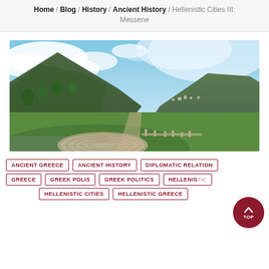Home / Blog / History / Ancient History / Hellenistic Cities III: Messene
[Figure (photo): Panoramic photo of ancient Messene archaeological site in Greece, showing ruins of a circular theater/odeon in a green valley, with mountains and a cloudy blue sky in the background]
ANCIENT GREECE
ANCIENT HISTORY
DIPLOMATIC RELATION
GREECE
GREEK POLIS
GREEK POLITICS
HELLENISTIC
HELLENISTIC CITIES
HELLENISTIC GREECE